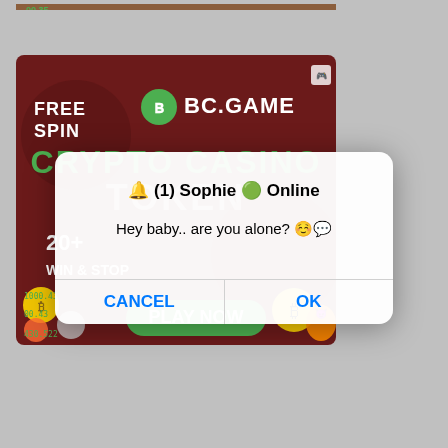[Figure (screenshot): BC.GAME Crypto Casino advertisement showing 'FREE SPIN', green BC logo, 'CRYPTO CASINO TOKEN' text, '20+ WIN & STOP', 'PLAY NOW' button, coin graphics and Bitcoin bag character on dark red background]
[Figure (screenshot): Mobile dialog overlay with title '🔔 (1) Sophie 🟢 Online', message 'Hey baby.. are you alone? ☺️💬', with CANCEL and OK buttons in blue]